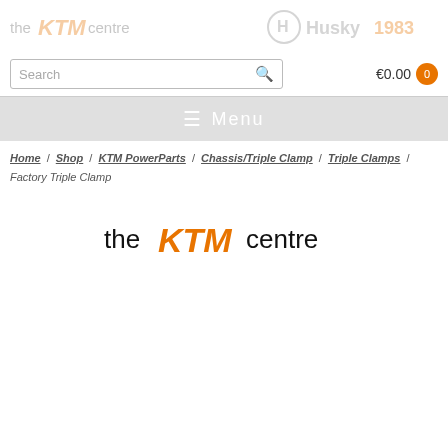the KTM centre | Husky1983
Search  €0.00
≡ Menu
Home / Shop / KTM PowerParts / Chassis/Triple Clamp / Triple Clamps / Factory Triple Clamp
[Figure (logo): The KTM centre logo — black text 'the' and 'centre', orange KTM badge lettering in the middle]